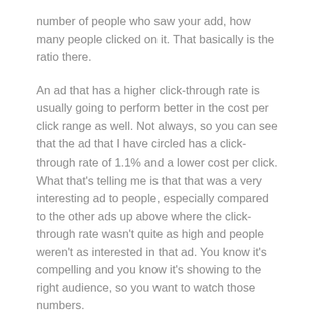number of people who saw your add, how many people clicked on it. That basically is the ratio there.
An ad that has a higher click-through rate is usually going to perform better in the cost per click range as well. Not always, so you can see that the ad that I have circled has a click-through rate of 1.1% and a lower cost per click. What that's telling me is that that was a very interesting ad to people, especially compared to the other ads up above where the click-through rate wasn't quite as high and people weren't as interested in that ad. You know it's compelling and you know it's showing to the right audience, so you want to watch those numbers.
Frequency isn't necessarily as critical. I've had ads that are shown to people many, many and they're performing well. You want to watch so you're not saturating your audience or showing it to too narrow of an audience over and over.